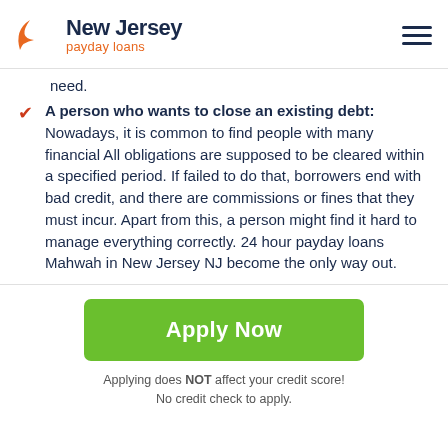New Jersey payday loans
need.
A person who wants to close an existing debt: Nowadays, it is common to find people with many financial All obligations are supposed to be cleared within a specified period. If failed to do that, borrowers end with bad credit, and there are commissions or fines that they must incur. Apart from this, a person might find it hard to manage everything correctly. 24 hour payday loans Mahwah in New Jersey NJ become the only way out.
Apply Now
Applying does NOT affect your credit score!
No credit check to apply.